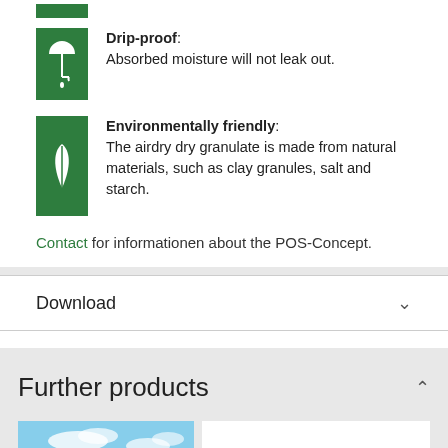Drip-proof: Absorbed moisture will not leak out.
Environmentally friendly: The airdry dry granulate is made from natural materials, such as clay granules, salt and starch.
Contact for informationen about the POS-Concept.
Download
Further products
[Figure (photo): A yellow product (possibly a container or building) against a blue sky with white clouds.]